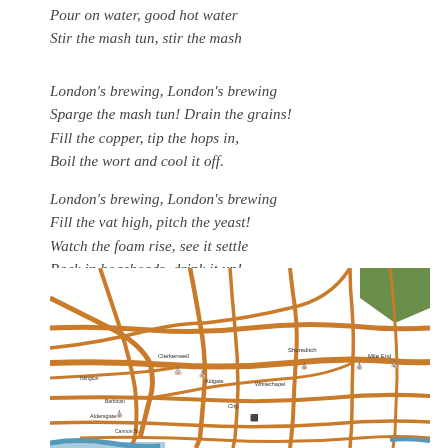Pour on water, good hot water
Stir the mash tun, stir the mash
London's brewing, London's brewing
Sparge the mash tun! Drain the grains!
Fill the copper, tip the hops in,
Boil the wort and cool it off.
London's brewing, London's brewing
Fill the vat high, pitch the yeast!
Watch the foam rise, see it settle
Rack in hogsheads, drink it up!
[Figure (map): A street map of London showing areas including Clerkenwell, Shoreditch, Whitechapel, Mile End, Aldgate, Southwark, and surrounding streets. Roads are shown in orange/amber on a white background with some green park areas in the upper right corner. Various location markers and labels are scattered across the map.]